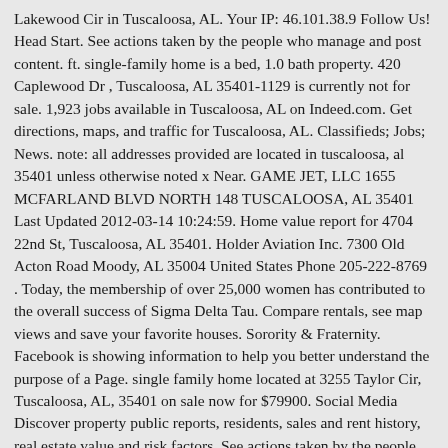Lakewood Cir in Tuscaloosa, AL. Your IP: 46.101.38.9 Follow Us! Head Start. See actions taken by the people who manage and post content. ft. single-family home is a bed, 1.0 bath property. 420 Caplewood Dr , Tuscaloosa, AL 35401-1129 is currently not for sale. 1,923 jobs available in Tuscaloosa, AL on Indeed.com. Get directions, maps, and traffic for Tuscaloosa, AL. Classifieds; Jobs; News. note: all addresses provided are located in tuscaloosa, al 35401 unless otherwise noted x Near. GAME JET, LLC 1655 MCFARLAND BLVD NORTH 148 TUSCALOOSA, AL 35401 Last Updated 2012-03-14 10:24:59. Home value report for 4704 22nd St, Tuscaloosa, AL 35401. Holder Aviation Inc. 7300 Old Acton Road Moody, AL 35004 United States Phone 205-222-8769 . Today, the membership of over 25,000 women has contributed to the overall success of Sigma Delta Tau. Compare rentals, see map views and save your favorite houses. Sorority & Fraternity. Facebook is showing information to help you better understand the purpose of a Page. single family home located at 3255 Taylor Cir, Tuscaloosa, AL, 35401 on sale now for $79900. Social Media Discover property public reports, residents, sales and rent history, real estate value and risk factors. See actions taken by the people who manage and post content. 420 Smithwood Circle House C Tuscaloosa AL 35401. Social Media each UA student's learning experiences. MSC# 870521 1831 University Station